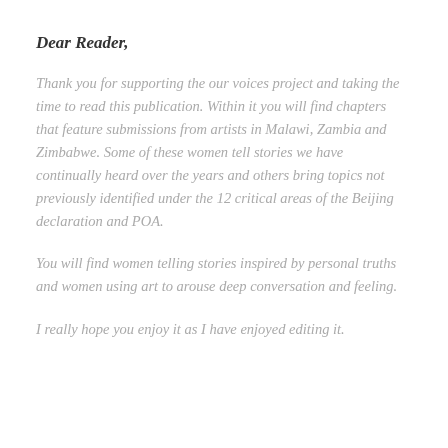Dear Reader,
Thank you for supporting the our voices project and taking the time to read this publication. Within it you will find chapters that feature submissions from artists in Malawi, Zambia and Zimbabwe. Some of these women tell stories we have continually heard over the years and others bring topics not previously identified under the 12 critical areas of the Beijing declaration and POA.
You will find women telling stories inspired by personal truths and women using art to arouse deep conversation and feeling.
I really hope you enjoy it as I have enjoyed editing it.